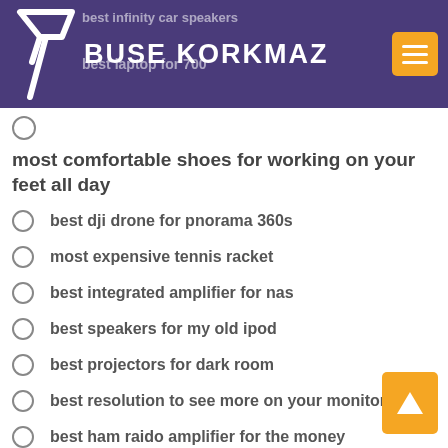BUSE KORKMAZ
most comfortable shoes for working on your feet all day
best dji drone for pnorama 360s
most expensive tennis racket
best integrated amplifier for nas
best speakers for my old ipod
best projectors for dark room
best resolution to see more on your monitor
best ham raido amplifier for the money